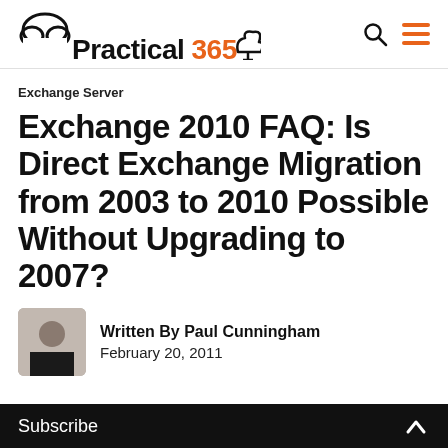Practical 365
Exchange Server
Exchange 2010 FAQ: Is Direct Exchange Migration from 2003 to 2010 Possible Without Upgrading to 2007?
Written By Paul Cunningham
February 20, 2011
Subscribe